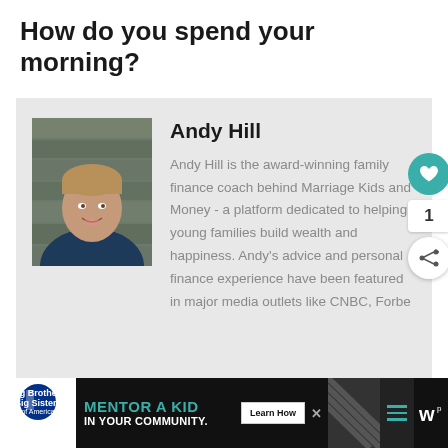How do you spend your morning?
[Figure (photo): Headshot of Andy Hill, a man in a dark blue v-neck shirt smiling, with wooden plank background]
Andy Hill
Andy Hill is the award-winning family finance coach behind Marriage Kids and Money - a platform dedicated to helping young families build wealth and happiness. Andy's advice and personal finance experience have been featured in major media outlets like CNBC, Forbe...
[Figure (infographic): Advertisement banner: Big Brothers Big Sisters logo, 'Mentor a Kid in Your Community' headline in teal, Learn How button, diagonal pattern, hamburger menu icon, close button]